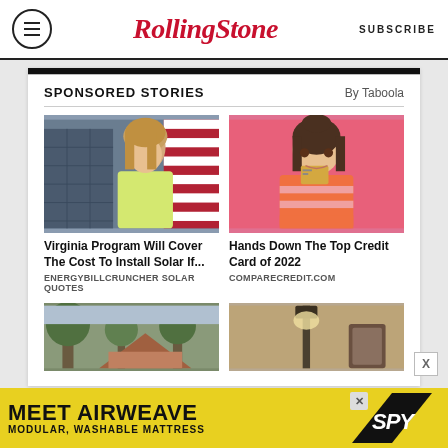RollingStone | SUBSCRIBE
SPONSORED STORIES
By Taboola
[Figure (photo): Young blonde woman in yellow shirt with solar panels and American flag in background]
Virginia Program Will Cover The Cost To Install Solar If...
ENERGYBILLCRUNCHER SOLAR QUOTES
[Figure (photo): Young brunette woman on pink background holding a credit card]
Hands Down The Top Credit Card of 2022
COMPARECREDIT.COM
[Figure (photo): Partial image - outdoor scene with trees]
[Figure (photo): Partial image - outdoor lamp or fixture]
[Figure (infographic): Bottom advertisement: MEET AIRWEAVE MODULAR, WASHABLE MATTRESS with SPY logo]